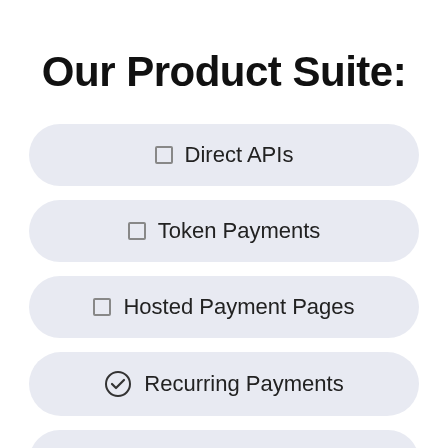Our Product Suite:
Direct APIs
Token Payments
Hosted Payment Pages
Recurring Payments
Virtual Terminal